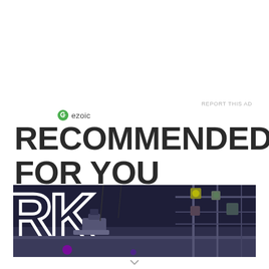REPORT THIS AD
[Figure (logo): Ezoic logo with green circular icon and text 'ezoic']
RECOMMENDED FOR YOU
[Figure (photo): Concert stage photo showing large letters RK on a dark backdrop with stage lighting equipment and rigging visible on the right side]